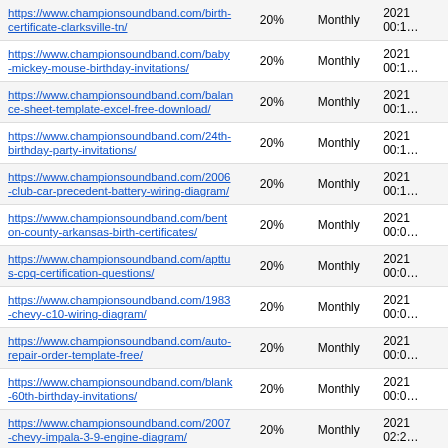| URL | Priority | Change Frequency | Last Modified |
| --- | --- | --- | --- |
| https://www.championsoundband.com/birth-certificate-clarksville-tn/ | 20% | Monthly | 2021 00:1… |
| https://www.championsoundband.com/baby-mickey-mouse-birthday-invitations/ | 20% | Monthly | 2021 00:1… |
| https://www.championsoundband.com/balance-sheet-template-excel-free-download/ | 20% | Monthly | 2021 00:1… |
| https://www.championsoundband.com/24th-birthday-party-invitations/ | 20% | Monthly | 2021 00:1… |
| https://www.championsoundband.com/2006-club-car-precedent-battery-wiring-diagram/ | 20% | Monthly | 2021 00:1… |
| https://www.championsoundband.com/benton-county-arkansas-birth-certificates/ | 20% | Monthly | 2021 00:0… |
| https://www.championsoundband.com/apttus-cpq-certification-questions/ | 20% | Monthly | 2021 00:0… |
| https://www.championsoundband.com/1983-chevy-c10-wiring-diagram/ | 20% | Monthly | 2021 00:0… |
| https://www.championsoundband.com/auto-repair-order-template-free/ | 20% | Monthly | 2021 00:0… |
| https://www.championsoundband.com/blank-60th-birthday-invitations/ | 20% | Monthly | 2021 00:0… |
| https://www.championsoundband.com/2007-chevy-impala-3-9-engine-diagram/ | 20% | Monthly | 2021 02:2… |
| https://www.championsoundband.com/2000-jeep-wrangler-wiring-harness-diagram/ | 20% | Monthly | 2021 02:2… |
| https://www.championsoundband.com/astros-minute-… | 20% | Monthly | 2021… |